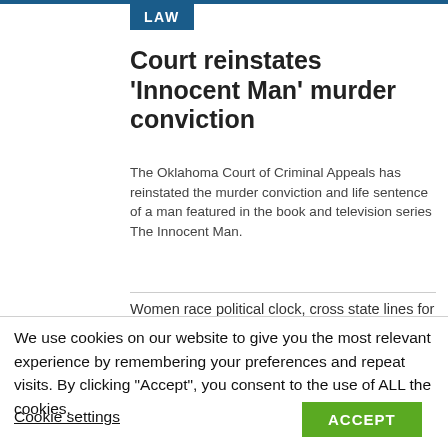LAW
Court reinstates ‘Innocent Man’ murder conviction
The Oklahoma Court of Criminal Appeals has reinstated the murder conviction and life sentence of a man featured in the book and television series The Innocent Man.
Women race political clock, cross state lines for abortions
[Figure (photo): Photo of a Safeway store exterior with police tape, barriers, and a white tent in the parking lot. A police officer stands nearby.]
Police: Heroic employee confronted gunman in store
Walmart seeks to dismiss lawsuit by FTC over money transfers
We use cookies on our website to give you the most relevant experience by remembering your preferences and repeat visits. By clicking “Accept”, you consent to the use of ALL the cookies.
Cookie settings
ACCEPT